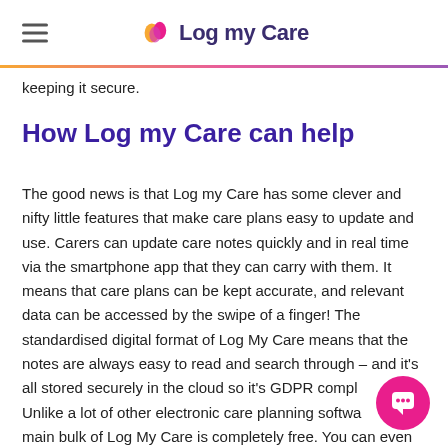Log my Care
keeping it secure.
How Log my Care can help
The good news is that Log my Care has some clever and nifty little features that make care plans easy to update and use. Carers can update care notes quickly and in real time via the smartphone app that they can carry with them. It means that care plans can be kept accurate, and relevant data can be accessed by the swipe of a finger! The standardised digital format of Log My Care means that the notes are always easy to read and search through – and it's all stored securely in the cloud so it's GDPR compl… Unlike a lot of other electronic care planning softwa… main bulk of Log My Care is completely free. You can even